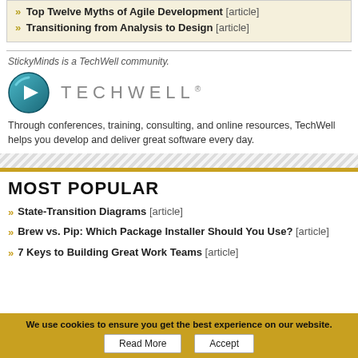» Top Twelve Myths of Agile Development [article]
» Transitioning from Analysis to Design [article]
StickyMinds is a TechWell community.
[Figure (logo): TechWell logo with teal circular play button icon and TECHWELL text in grey spaced letters]
Through conferences, training, consulting, and online resources, TechWell helps you develop and deliver great software every day.
MOST POPULAR
» State-Transition Diagrams [article]
» Brew vs. Pip: Which Package Installer Should You Use? [article]
» 7 Keys to Building Great Work Teams [article]
We use cookies to ensure you get the best experience on our website.